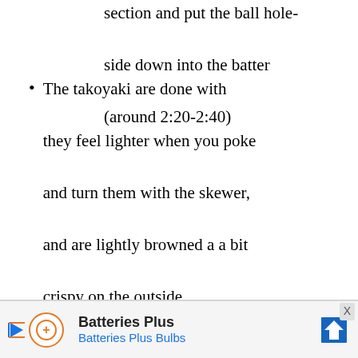section and put the ball hole-side down into the batter (around 2:20-2:40)
The takoyaki are done with they feel lighter when you poke and turn them with the skewer, and are lightly browned a a bit crispy on the outside.
The key is for the takoyaki to be hollow on the inside. This
[Figure (other): Advertisement banner for Batteries Plus Bulbs with logo, play button icon, brand name, and directional sign icon]